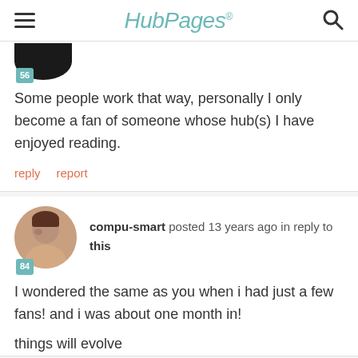HubPages
Some people work that way, personally I only become a fan of someone whose hub(s) I have enjoyed reading.
reply   report
compu-smart posted 13 years ago in reply to this
I wondered the same as you when i had just a few fans! and i was about one month in!
things will evolve